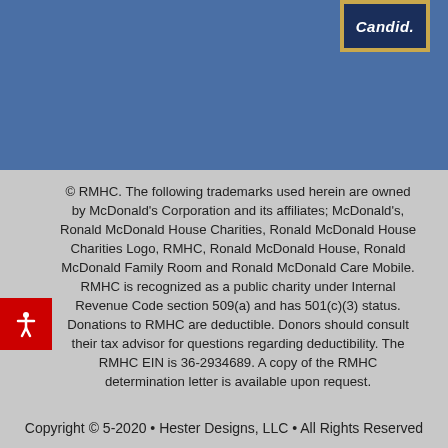[Figure (logo): Candid badge/logo in gold and navy blue in upper right corner of blue banner]
© RMHC. The following trademarks used herein are owned by McDonald's Corporation and its affiliates; McDonald's, Ronald McDonald House Charities, Ronald McDonald House Charities Logo, RMHC, Ronald McDonald House, Ronald McDonald Family Room and Ronald McDonald Care Mobile. RMHC is recognized as a public charity under Internal Revenue Code section 509(a) and has 501(c)(3) status. Donations to RMHC are deductible. Donors should consult their tax advisor for questions regarding deductibility. The RMHC EIN is 36-2934689. A copy of the RMHC determination letter is available upon request.
Copyright © 5-2020 • Hester Designs, LLC • All Rights Reserved